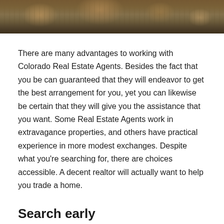[Figure (photo): Landscape photo of a garden or natural outdoor scene with plants and vegetation, shown as a horizontal strip at the top of the page.]
There are many advantages to working with Colorado Real Estate Agents. Besides the fact that you be can guaranteed that they will endeavor to get the best arrangement for you, yet you can likewise be certain that they will give you the assistance that you want. Some Real Estate Agents work in extravagance properties, and others have practical experience in more modest exchanges. Despite what you're searching for, there are choices accessible. A decent realtor will actually want to help you trade a home.
Search early
Assuming that you're contemplating trading a home, think about the upsides of beginning your pursuit early. Beginning